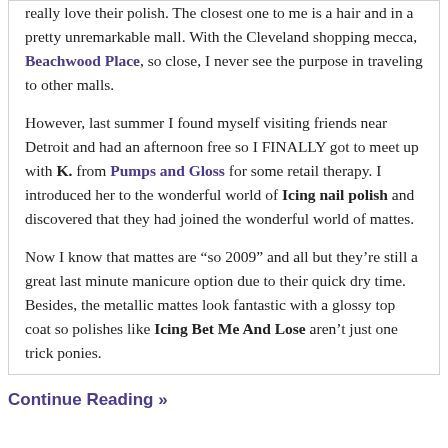really love their polish. The closest one to me is a hair and in a pretty unremarkable mall. With the Cleveland shopping mecca, Beachwood Place, so close, I never see the purpose in traveling to other malls.
However, last summer I found myself visiting friends near Detroit and had an afternoon free so I FINALLY got to meet up with K. from Pumps and Gloss for some retail therapy. I introduced her to the wonderful world of Icing nail polish and discovered that they had joined the wonderful world of mattes.
Now I know that mattes are “so 2009” and all but they’re still a great last minute manicure option due to their quick dry time. Besides, the metallic mattes look fantastic with a glossy top coat so polishes like Icing Bet Me And Lose aren’t just one trick ponies.
Continue Reading »